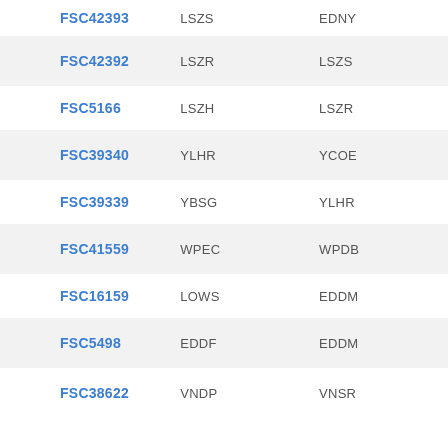| FSC42393 | LSZS | EDNY |
| FSC42392 | LSZR | LSZS |
| FSC5166 | LSZH | LSZR |
| FSC39340 | YLHR | YCOE |
| FSC39339 | YBSG | YLHR |
| FSC41559 | WPEC | WPDB |
| FSC16159 | LOWS | EDDM |
| FSC5498 | EDDF | EDDM |
| FSC38622 | VNDP | VNSR |